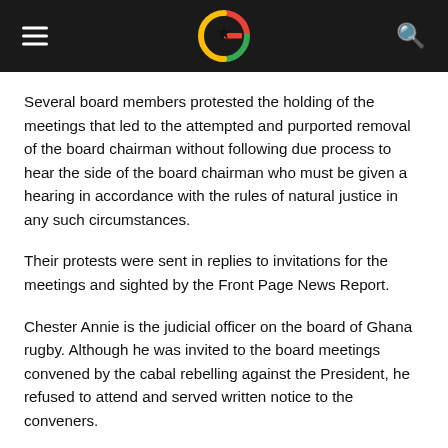Ghana Rugby news website header with logo
Several board members protested the holding of the meetings that led to the attempted and purported removal of the board chairman without following due process to hear the side of the board chairman who must be given a hearing in accordance with the rules of natural justice in any such circumstances.
Their protests were sent in replies to invitations for the meetings and sighted by the Front Page News Report.
Chester Annie is the judicial officer on the board of Ghana rugby. Although he was invited to the board meetings convened by the cabal rebelling against the President, he refused to attend and served written notice to the conveners.